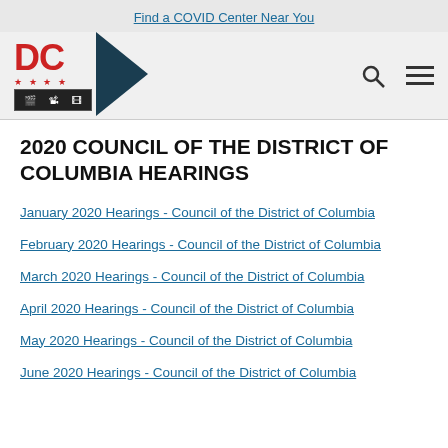Find a COVID Center Near You
[Figure (logo): DC government logo with red DC letters, stars, film strip graphic, and teal triangle arrow shape]
2020 COUNCIL OF THE DISTRICT OF COLUMBIA HEARINGS
January 2020 Hearings - Council of the District of Columbia
February 2020 Hearings - Council of the District of Columbia
March 2020 Hearings - Council of the District of Columbia
April 2020 Hearings - Council of the District of Columbia
May 2020 Hearings - Council of the District of Columbia
June 2020 Hearings - Council of the District of Columbia